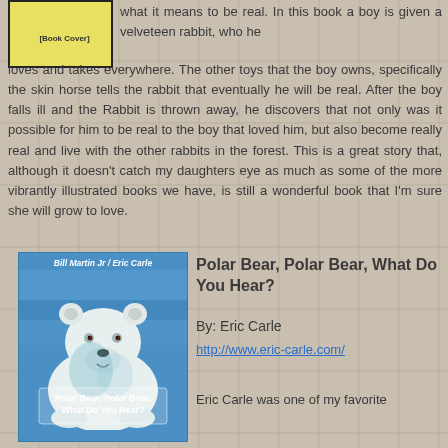[Figure (illustration): Book cover with yellow background and black border, partially visible at top left]
what it means to be real. In this book a boy is given a velveteen rabbit, who he loves and takes everywhere. The other toys that the boy owns, specifically the skin horse tells the rabbit that eventually he will be real. After the boy falls ill and the Rabbit is thrown away, he discovers that not only was it possible for him to be real to the boy that loved him, but also become really real and live with the other rabbits in the forest. This is a great story that, although it doesn't catch my daughters eye as much as some of the more vibrantly illustrated books we have, is still a wonderful book that I'm sure she will grow to love.
[Figure (illustration): Book cover of Polar Bear, Polar Bear, What Do You Hear? by Bill Martin Jr / Eric Carle, showing a white polar bear on blue background]
Polar Bear, Polar Bear, What Do You Hear?
By: Eric Carle
http://www.eric-carle.com/
Eric Carle was one of my favorite